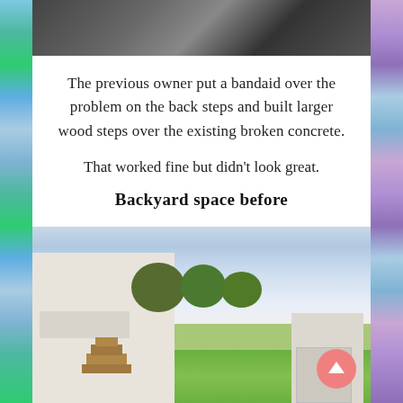[Figure (photo): Top strip showing close-up of broken concrete or construction materials]
The previous owner put a bandaid over the problem on the back steps and built larger wood steps over the existing broken concrete.
That worked fine but didn't look great.
Backyard space before
[Figure (photo): Backyard before renovation showing a white house with wood steps and porch, large garage on right, green lawn, trees, and cloudy sky]